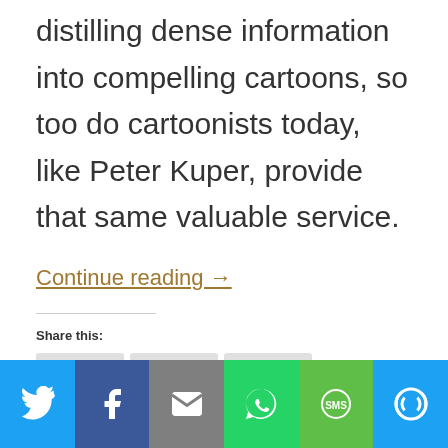distilling dense information into compelling cartoons, so too do cartoonists today, like Peter Kuper, provide that same valuable service.
Continue reading →
Share this: